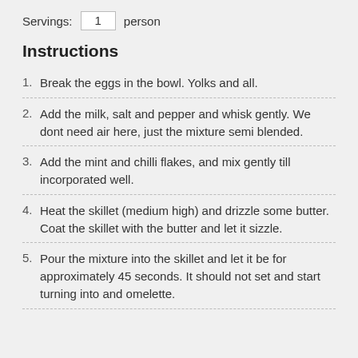Servings: 1 person
Instructions
Break the eggs in the bowl. Yolks and all.
Add the milk, salt and pepper and whisk gently. We dont need air here, just the mixture semi blended.
Add the mint and chilli flakes, and mix gently till incorporated well.
Heat the skillet (medium high) and drizzle some butter. Coat the skillet with the butter and let it sizzle.
Pour the mixture into the skillet and let it be for approximately 45 seconds. It should not set and start turning into and omelette.